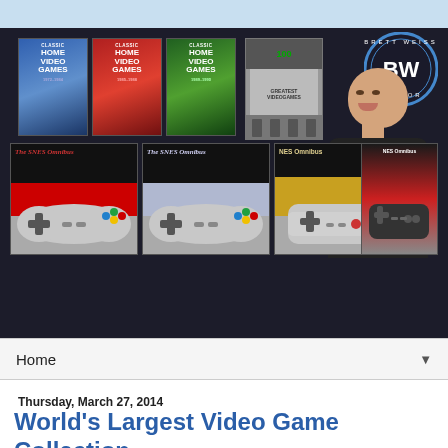[Figure (photo): Website banner showing multiple video game book covers by Brett Weiss including Classic Home Video Games volumes, SNES Omnibus books, NES Omnibus books, and a photo of the author Brett Weiss wearing a black t-shirt. A circular BW Author logo is in the top right.]
Home ▼
Thursday, March 27, 2014
World's Largest Video Game Collection